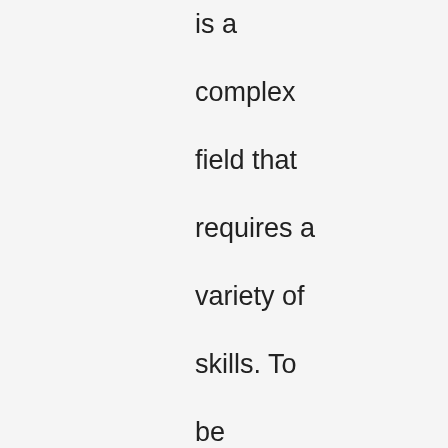is a complex field that requires a variety of skills. To be successful, you need to have a solid understanding of coding languages, web standards,